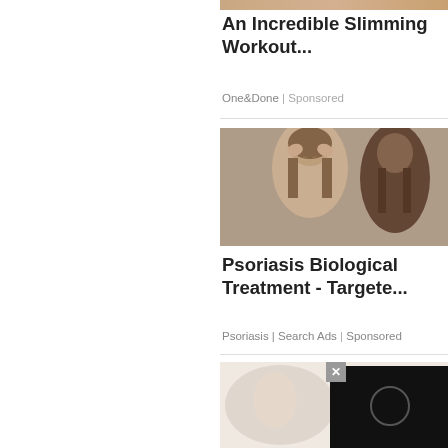[Figure (photo): Partial top image of workout content, cropped at top]
An Incredible Slimming Workout...
One&Done | Sponsored
[Figure (photo): Woman looking stressed, holding her hair near a mirror - psoriasis ad]
Psoriasis Biological Treatment - Targete...
Psoriasis | Search Ads | Sponsored
[Figure (photo): Third ad image with video overlay player and close button]